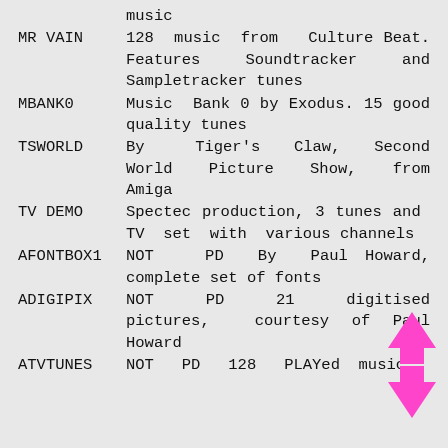music
MR VAIN   128 music from Culture Beat. Features Soundtracker and Sampletracker tunes
MBANK0   Music Bank 0 by Exodus. 15 good quality tunes
TSWORLD   By Tiger's Claw, Second World Picture Show, from Amiga
TV DEMO   Spectec production, 3 tunes and TV set with various channels
AFONTBOX1   NOT PD By Paul Howard, complete set of fonts
ADIGIPIX   NOT PD 21 digitised pictures, courtesy of Paul Howard
ATVTUNES   NOT PD 128 PLAYed music